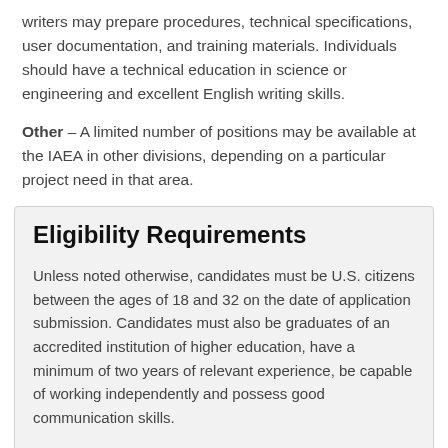writers may prepare procedures, technical specifications, user documentation, and training materials. Individuals should have a technical education in science or engineering and excellent English writing skills.
Other – A limited number of positions may be available at the IAEA in other divisions, depending on a particular project need in that area.
Eligibility Requirements
Unless noted otherwise, candidates must be U.S. citizens between the ages of 18 and 32 on the date of application submission. Candidates must also be graduates of an accredited institution of higher education, have a minimum of two years of relevant experience, be capable of working independently and possess good communication skills.
JPOs work at the IAEA Headquarters in Vienna, Austria for a term not to exceed three years. JPOs receive all the rights and benefits of IAEA professional staff members.